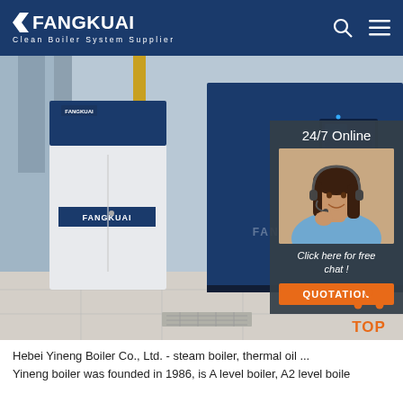FANGKUAI - Clean Boiler System Supplier
[Figure (photo): Photo of Fangkuai industrial boilers (navy blue and white) in an industrial room, with a 24/7 online chat overlay featuring a customer service representative, a 'Click here for free chat!' message, and a QUOTATION button. A TOP scroll button is visible at bottom right.]
Hebei Yineng Boiler Co., Ltd. - steam boiler, thermal oil ...
Yineng boiler was founded in 1986, is A level boiler, A2 level boile